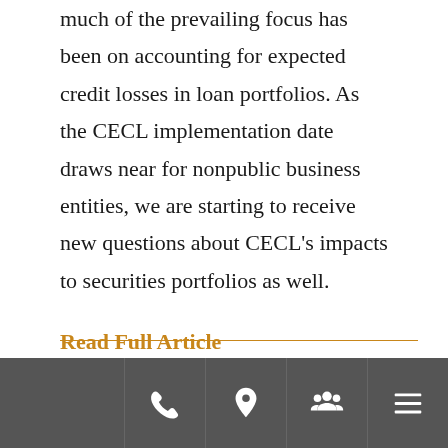much of the prevailing focus has been on accounting for expected credit losses in loan portfolios. As the CECL implementation date draws near for nonpublic business entities, we are starting to receive new questions about CECL's impacts to securities portfolios as well.
Read Full Article
Supplementing Data Security
[Figure (other): Mobile navigation footer bar with four icon buttons: phone, location pin, people/group, and hamburger menu]